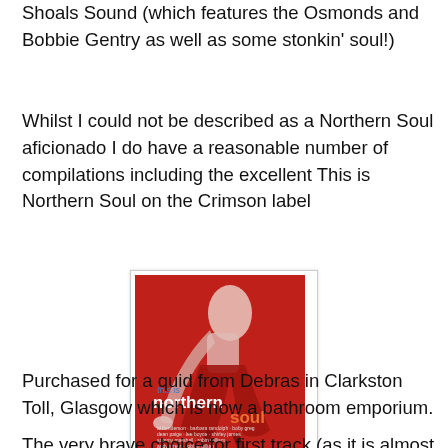Shoals Sound (which features the Osmonds and Bobbie Gentry as well as some stonkin' soul!)
Whilst I could not be described as a Northern Soul aficionado I do have a reasonable number of compilations including the excellent This is Northern Soul on the Crimson label
[Figure (photo): Album cover for 'This is Northern Soul' on the Crimson label. Red background with a dancer figure; text reads 'this is northern soul' with artist names listed below.]
Purchased for a quid from Debras in Clarkston Toll, Glasgow which is now a bathroom emporium.
The very brave choice for first track (as it is almost